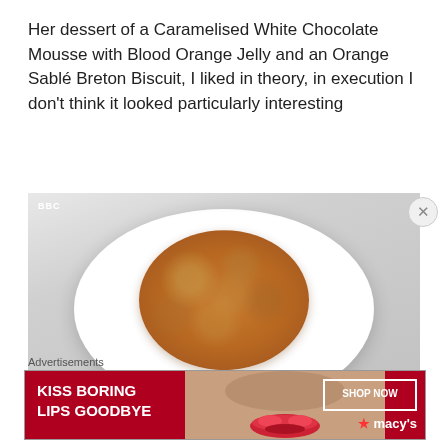Her dessert of a Caramelised White Chocolate Mousse with Blood Orange Jelly and an Orange Sablé Breton Biscuit, I liked in theory, in execution I don't think it looked particularly interesting
[Figure (photo): A BBC screenshot showing a white plate with a round caramelised mousse/biscuit dessert on it, presented minimally on a white background.]
Advertisements
[Figure (photo): Advertisement banner with red background reading 'KISS BORING LIPS GOODBYE' with a woman's face and red lips, alongside 'SHOP NOW' button and Macy's star logo.]